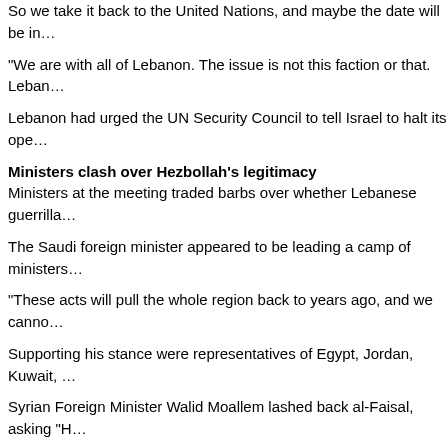So we take it back to the United Nations, and maybe the date will be in…
"We are with all of Lebanon. The issue is not this faction or that. Leban…
Lebanon had urged the UN Security Council to tell Israel to halt its ope…
Ministers clash over Hezbollah's legitimacy
Ministers at the meeting traded barbs over whether Lebanese guerrilla…
The Saudi foreign minister appeared to be leading a camp of ministers…
"These acts will pull the whole region back to years ago, and we canno…
Supporting his stance were representatives of Egypt, Jordan, Kuwait, …
Syrian Foreign Minister Walid Moallem lashed back al-Faisal, asking "H…
Moallem emerged as the leader of another camp of ministers defending…
Salloukh, a Shiite close to the mainstream Amal faction as well as the m…
"What our Arab brothers have called 'involvement' has only resulted in …
"If [Arab] governments are not serious and determined... our people wil…
Arab League secretary-general Amr Moussa issued a statement Friday… Annan's special envoy, Terje Roed-Larsen.
In Kuwait, Saad Hariri, head of the anti-Syrian bloc in Lebanon's parlia…
"I would like to ask the rest of the Arab governments to do what…